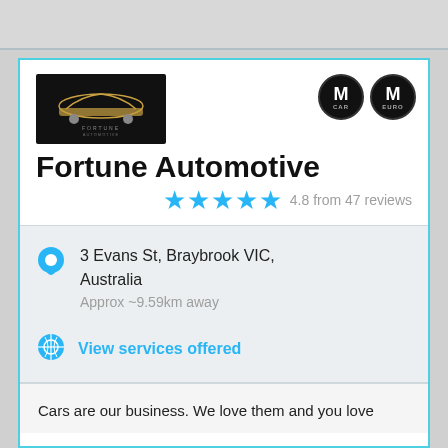[Figure (screenshot): Top grey bar area visible at top of page]
[Figure (logo): Fortune Automotive logo - dark background with car silhouette and stylized text]
Fortune Automotive
4.8 from 47 reviews
3 Evans St, Braybrook VIC, Australia
Approx ~9.59km away
View services offered
Cars are our business. We love them and you love